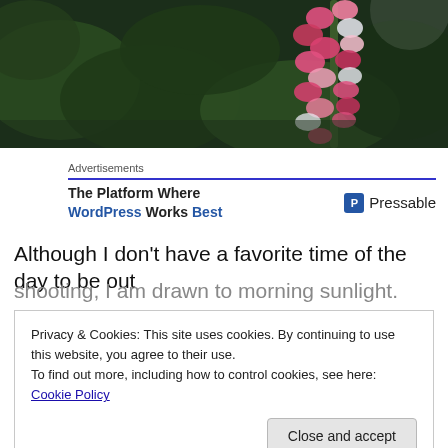[Figure (photo): Close-up photo of pink and white lupine flowers against dark green foliage background, cropped at top]
Advertisements
[Figure (other): Advertisement banner: 'The Platform Where WordPress Works Best' with Pressable logo on the right]
Although I don't have a favorite time of the day to be out
shooting, I am drawn to morning sunlight. Early in the
Privacy & Cookies: This site uses cookies. By continuing to use this website, you agree to their use.
To find out more, including how to control cookies, see here: Cookie Policy
Close and accept